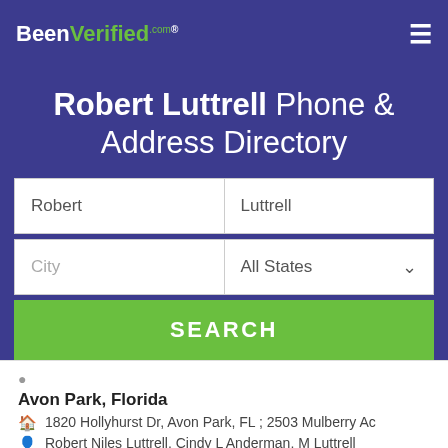BeenVerified.com
Robert Luttrell Phone & Address Directory
Robert | Luttrell
City | All States
SEARCH
Avon Park, Florida
1820 Hollyhurst Dr, Avon Park, FL ; 2503 Mulberry Ac
Robert Niles Luttrell, Cindy L Anderman, M Luttrell